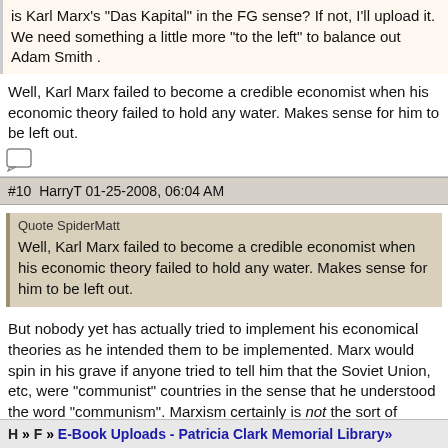is Karl Marx's "Das Kapital" in the FG sense? If not, I'll upload it. We need something a little more "to the left" to balance out Adam Smith .
Well, Karl Marx failed to become a credible economist when his economic theory failed to hold any water. Makes sense for him to be left out.
#10  HarryT 01-25-2008, 06:04 AM
Quote SpiderMatt
Well, Karl Marx failed to become a credible economist when his economic theory failed to hold any water. Makes sense for him to be left out.
But nobody yet has actually tried to implement his economical theories as he intended them to be implemented. Marx would spin in his grave if anyone tried to tell him that the Soviet Union, etc, were "communist" countries in the sense that he understood the word "communism". Marxism certainly is not the sort of totalitarianism that existed in those countries.
H » F » E-Book Uploads - Patricia Clark Memorial Library»